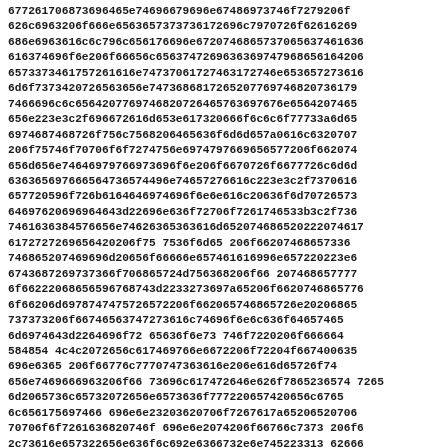677261706873696465e74696679696e67486973746f7279206f626c6963206f666e6563657373736172696c7970726f6261626960686e6963616c6c796c656176696e6720746865737065637461636c616374696f6e206f66656c6563747269636369747968656164206f656573373461757261616e7473706172746e6573726a73686970656d6561636e736e6f6d656e207279636c363733a6d657466696e676174696f6e6566636f6c6c6c6f756e74696e6720644653726f69 6e6e6120746f70706e696f6e696e6972746f65 6572 653e617461626c6564695374616e64617264 663774653761313637336f6d20 68656c6c 6369726c202063727564 6563206569726e74726f6 7462097468726f756c7468696e6769 6369616b2070657220206643206e616c65 236374 6e73 756e f375746f706f6f 665636 6e6564206f7461627265 20 66742e 6e666563 74 6c7968 6e617479746f20706f740f696e6e 614f7265732067657973204c6570726f6477756 54c726 3704e2 6c61 6e64 206 7261 636 2e746 3d2 72 6163 26 f7274 653 7322 6572 37363 65372 36 2 7340 7061 726 50 673 69 2e 3 742 202 40 0 6e6d79 79 753 202 6c 656c73